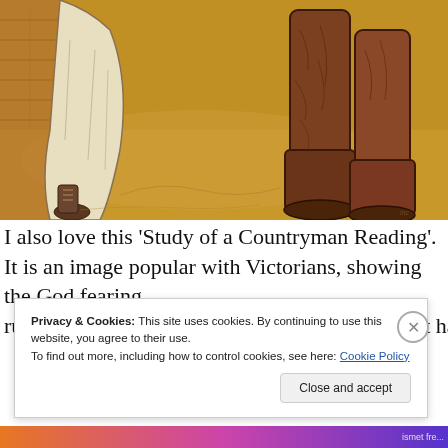[Figure (illustration): A sepia/amber-toned drawing or watercolor showing lower portions of figures — a woman in a long white/cream dress with laced boots, and a man in tall brown boots, standing on a textured golden-brown ground, with a brick wall visible in the background. The image is cropped to show only from roughly the waist down.]
I also love this 'Study of a Countryman Reading'. It is an image popular with Victorians, showing the God fearing rural poor, to put the more affluent at ease, but it has a
Privacy & Cookies: This site uses cookies. By continuing to use this website, you agree to their use.
To find out more, including how to control cookies, see here: Cookie Policy
Close and accept